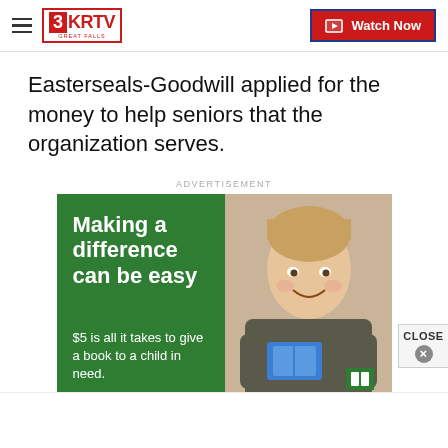3KRTV Great Falls — Watch Now
Easterseals-Goodwill applied for the money to help seniors that the organization serves.
ADVERTISEMENT
[Figure (infographic): Advertisement banner: green left panel with white bold text 'Making a difference can be easy' and '$5 is all it takes to give a book to a child in need.' Right panel shows a photo of a smiling young boy holding books. A CLOSE button appears at bottom right.]